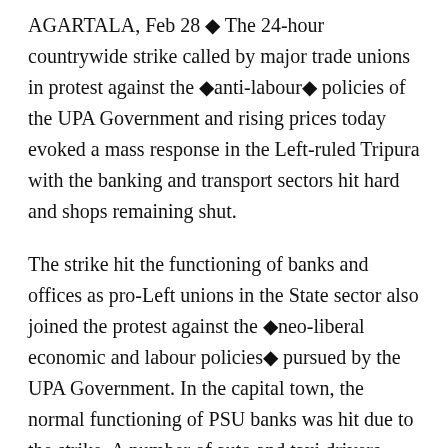AGARTALA, Feb 28 ◆ The 24-hour countrywide strike called by major trade unions in protest against the ◆anti-labour◆ policies of the UPA Government and rising prices today evoked a mass response in the Left-ruled Tripura with the banking and transport sectors hit hard and shops remaining shut.
The strike hit the functioning of banks and offices as pro-Left unions in the State sector also joined the protest against the ◆neo-liberal economic and labour policies◆ pursued by the UPA Government. In the capital town, the normal functioning of PSU banks was hit due to the strike. A number of auto and taxi drivers kept their vehicles off the roads to take part in the protest.